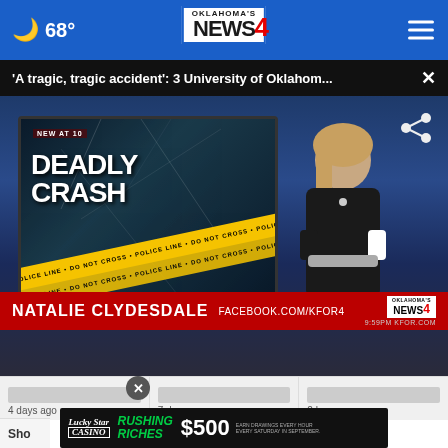68° Oklahoma's News 4
'A tragic, tragic accident': 3 University of Oklahom... ×
[Figure (screenshot): News broadcast screenshot showing anchor Natalie Clydesdale at Oklahoma's News 4 desk with 'DEADLY CRASH' graphic on screen behind her. Lower third reads: NATALIE CLYDESDALE FACEBOOK.COM/KFOR4]
4 days ago
7 days ago
2 hours ago
[Figure (infographic): Lucky Star Casino ad: RUSHING RICHES $500 EARN DRAWINGS EVERY HOUR EVERY SATURDAY IN SEPTEMBER]
Sho